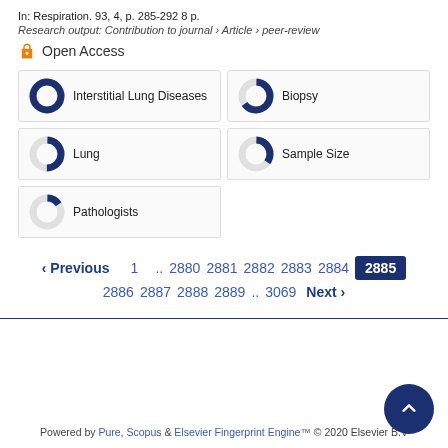In: Respiration. 93, 4, p. 285-292 8 p.
Research output: Contribution to journal › Article › peer-review
Open Access
[Figure (infographic): Five keyword fingerprint items with donut-style percentage indicators: Interstitial Lung Diseases (~100%), Biopsy (~65%), Lung (~50%), Sample Size (~35%), Pathologists (~15%)]
‹ Previous  1 .. 2880  2881  2882  2883  2884  2885  2886  2887  2888  2889 .. 3069  Next ›
Powered by Pure, Scopus & Elsevier Fingerprint Engine™ © 2020 Elsevier B.V